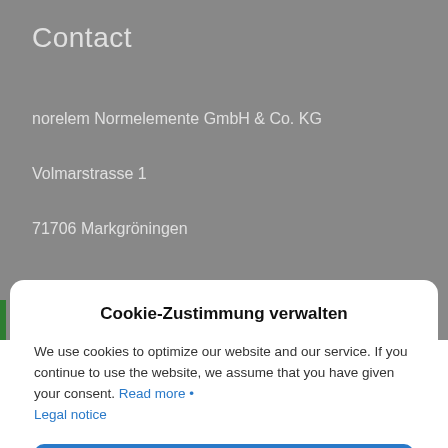Contact
norelem Normelemente GmbH & Co. KG
Volmarstrasse 1
71706 Markgröningen
Cookie-Zustimmung verwalten
We use cookies to optimize our website and our service. If you continue to use the website, we assume that you have given your consent. Read more • Legal notice
COOKIES AKZEPTIEREN
ABLEHNEN
EINSTELLUNGEN ANZEIGEN